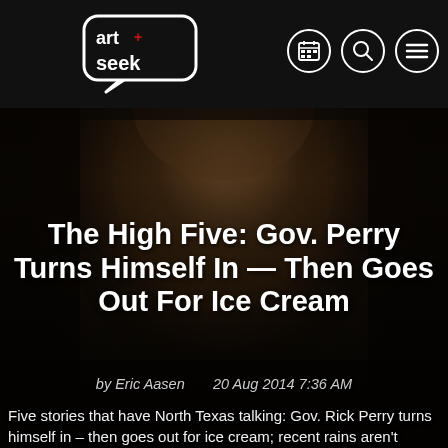[Figure (screenshot): ArtSeek website header with dark background, logo on left, nav icons (calendar, search, menu) on right]
[Figure (photo): Dark close-up portrait photo used as hero image background, showing a person's face in shadow]
The High Five: Gov. Perry Turns Himself In — Then Goes Out For Ice Cream
by Eric Aasen     20 Aug 2014 7:36 AM
Five stories that have North Texas talking: Gov. Rick Perry turns himself in – then goes out for ice cream; recent rains aren't helping North Texas...